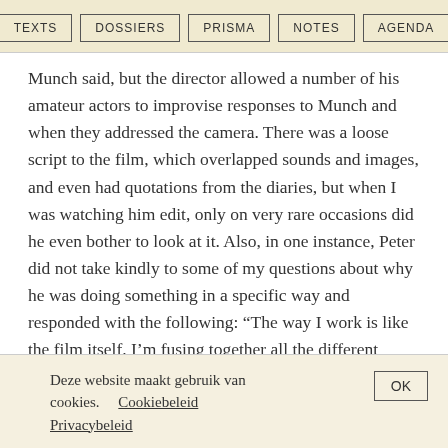TEXTS | DOSSIERS | PRISMA | NOTES | AGENDA
Munch said, but the director allowed a number of his amateur actors to improvise responses to Munch and when they addressed the camera. There was a loose script to the film, which overlapped sounds and images, and even had quotations from the diaries, but when I was watching him edit, only on very rare occasions did he even bother to look at it. Also, in one instance, Peter did not take kindly to some of my questions about why he was doing something in a specific way and responded with the following: “The way I work is like the film itself. I’m fusing together all the different levels all the time… Much of this is not conscious, which is why I’m not going to disturb and formalise the process by which I created that, which was very often an entirely subjective experience. I
Deze website maakt gebruik van cookies.     Cookiebeleid
Privacybeleid